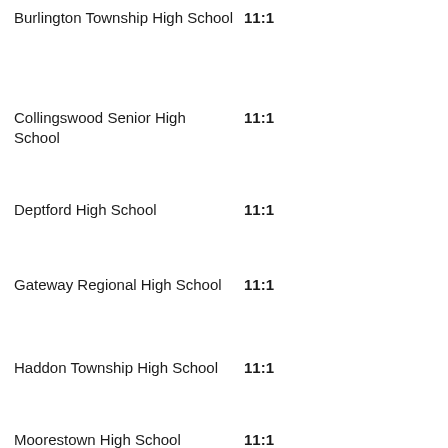Burlington Township High School  11:1
Collingswood Senior High School  11:1
Deptford High School  11:1
Gateway Regional High School  11:1
Haddon Township High School  11:1
Moorestown High School  11:1